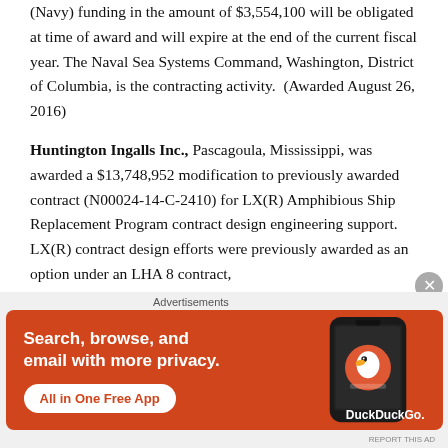(Navy) funding in the amount of $3,554,100 will be obligated at time of award and will expire at the end of the current fiscal year. The Naval Sea Systems Command, Washington, District of Columbia, is the contracting activity.  (Awarded August 26, 2016)
Huntington Ingalls Inc., Pascagoula, Mississippi, was awarded a $13,748,952 modification to previously awarded contract (N00024-14-C-2410) for LX(R) Amphibious Ship Replacement Program contract design engineering support.  LX(R) contract design efforts were previously awarded as an option under an LHA 8 contract,
[Figure (infographic): DuckDuckGo advertisement banner with orange background. Text reads 'Search, browse, and email with more privacy. All in One Free App' with DuckDuckGo logo and phone image.]